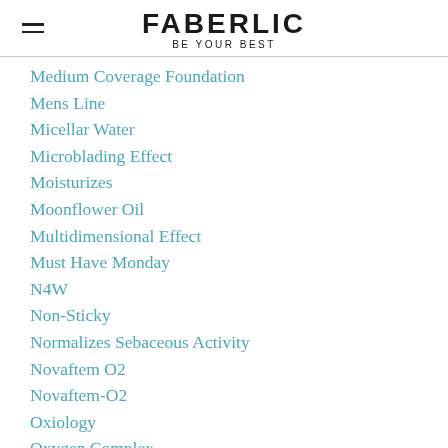FABERLIC BE YOUR BEST
Medium Coverage Foundation
Mens Line
Micellar Water
Microblading Effect
Moisturizes
Moonflower Oil
Multidimensional Effect
Must Have Monday
N4W
Non-Sticky
Normalizes Sebaceous Activity
Novaftem O2
Novaftem-O2
Oxiology
Oxygen Complex
Paraben Free
Paraben[free